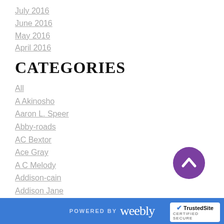July 2016
June 2016
May 2016
April 2016
CATEGORIES
All
A Akinosho
Aaron L. Speer
Abby-roads
AC Bextor
Ace Gray
A C Melody
Addison-cain
Addison Jane
A.D. Justice
Adriana-locke
[Figure (illustration): Purple circle with upward chevron arrow (scroll-to-top button)]
POWERED BY weebly | TrustedSite CERTIFIED SECURE